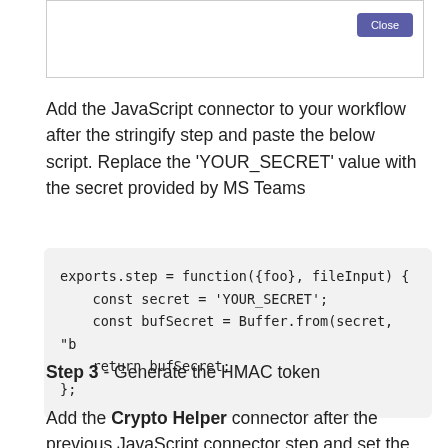[Figure (screenshot): A UI dialog/modal box with a Close button (purple) in the top-right corner]
Add the JavaScript connector to your workflow after the stringify step and paste the below script. Replace the 'YOUR_SECRET' value with the secret provided by MS Teams
exports.step = function({foo}, fileInput) {
    const secret = 'YOUR_SECRET';
    const bufSecret = Buffer.from(secret, "b
    return bufSecret;
};
Step 3 - Generate the HMAC token
Add the Crypto Helper connector after the previous JavaScript connector step and set the operation to 'HMAC'